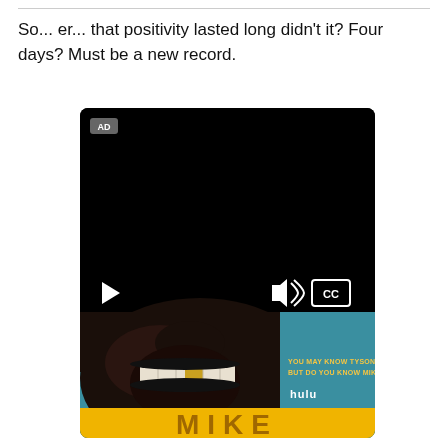So... er... that positivity lasted long didn't it? Four days? Must be a new record.
[Figure (screenshot): Embedded video player showing a Hulu ad for 'MIKE' — a show about Mike Tyson. The video player has a black top section with an AD badge, play button and CC/volume controls. Below the player controls is a promotional image showing a close-up of a man laughing with a gold tooth, against a teal background, with text 'YOU MAY KNOW TYSON, BUT DO YOU KNOW MIKE?' and the Hulu logo and title 'MIKE' in gold letters.]